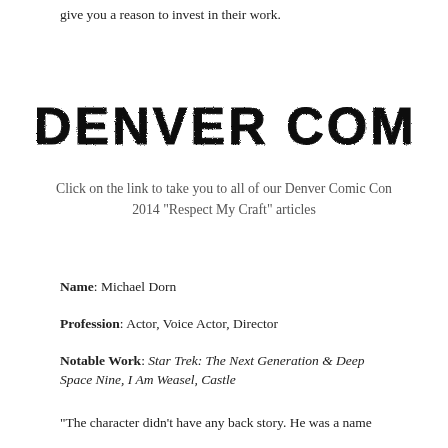give you a reason to invest in their work.
DENVER COMIC CON
Click on the link to take you to all of our Denver Comic Con 2014 “Respect My Craft” articles
Name: Michael Dorn
Profession: Actor, Voice Actor, Director
Notable Work: Star Trek: The Next Generation & Deep Space Nine, I Am Weasel, Castle
“The character didn’t have any back story. He was a name